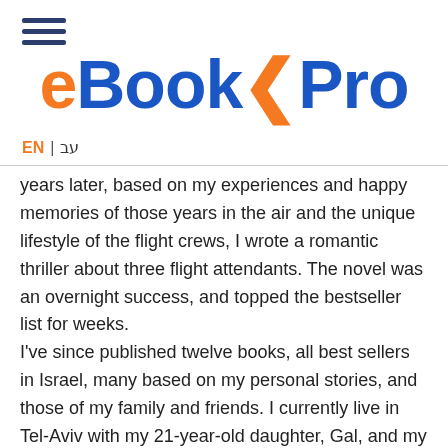eBookPro — EN | עב
years later, based on my experiences and happy memories of those years in the air and the unique lifestyle of the flight crews, I wrote a romantic thriller about three flight attendants. The novel was an overnight success, and topped the bestseller list for weeks. I've since published twelve books, all best sellers in Israel, many based on my personal stories, and those of my family and friends. I currently live in Tel-Aviv with my 21-year-old daughter, Gal, and my partner, Gili. I write a book a year. My novels are romantic thrillers and historical romances, for the most part based on true stories. Naturally, the people I know best are from my own life...